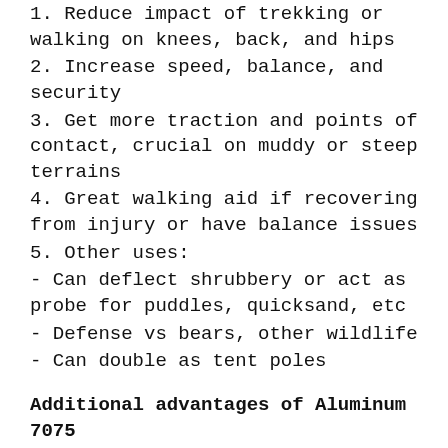1. Reduce impact of trekking or walking on knees, back, and hips
2. Increase speed, balance, and security
3. Get more traction and points of contact, crucial on muddy or steep terrains
4. Great walking aid if recovering from injury or have balance issues
5. Other uses:
- Can deflect shrubbery or act as probe for puddles, quicksand, etc
- Defense vs bears, other wildlife
- Can double as tent poles
Additional advantages of Aluminum 7075
While carbon fiber is lighter than aluminum, it does not perform very well under lateral pressure -